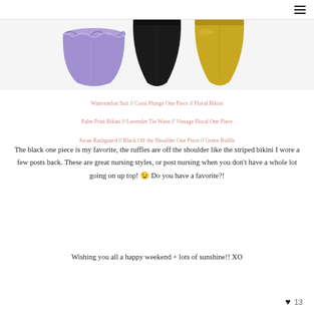≡
[Figure (photo): Three swimsuit bottoms displayed: a lavender ruffled bikini bottom on the left, a black bikini bottom in the center, and a yellow/mustard bikini bottom on the right.]
Watermelon Suit // Coral Plunge One Piece // Floral Bikini Palm Print Bikini // Lavender Tie Waist // Vintage Floral One Piece Swan Rashguard // Black Off the Shoulder One Piece // Green Ruffle
The black one piece is my favorite, the ruffles are off the shoulder like the striped bikini I wore a few posts back. These are great nursing styles, or post nursing when you don't have a whole lot going on up top! 😉 Do you have a favorite?!
Wishing you all a happy weekend + lots of sunshine!! XO